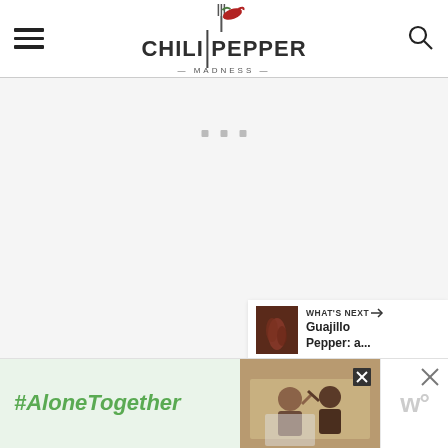Chili Pepper Madness
[Figure (screenshot): Loading/placeholder area with three small gray square dots centered on light gray background]
[Figure (infographic): Right sidebar with heart/favorite button (dark gray circle), count label 121, and share button (white circle with share icon)]
[Figure (screenshot): What's Next panel with thumbnail image of guajillo peppers and text 'Guajillo Pepper: a...']
[Figure (screenshot): Bottom advertisement bar: green section with '#AloneTogether' text, photo of two people waving at laptop, close button, and WP logo on right]